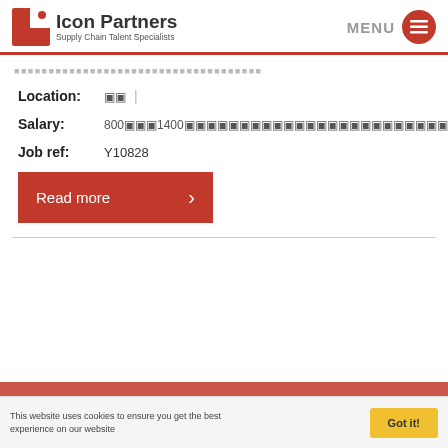Icon Partners — Supply Chain Talent Specialists | MENU
Location: 🔲🔲 |
Salary: 800🔲🔲🔲1400🔲🔲🔲🔲🔲🔲🔲🔲🔲🔲🔲🔲🔲🔲🔲🔲🔲🔲🔲🔲🔲🔲🔲🔲🔲🔲🔲 |
Job ref: Y10828
Read more ›
This website uses cookies to ensure you get the best experience on our website
Got it!